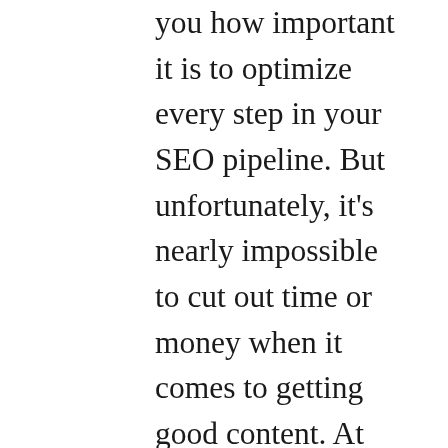you how important it is to optimize every step in your SEO pipeline. But unfortunately, it's nearly impossible to cut out time or money when it comes to getting good content. At least that's what I thought until I came across Article Forge... Built by a team of AI researchers from MIT, Carnegie Mellon, Harvard, Article Forge is an artificial intelligence (AI) powered content writer that uses deep learning models to write entire articles about any topic in less than